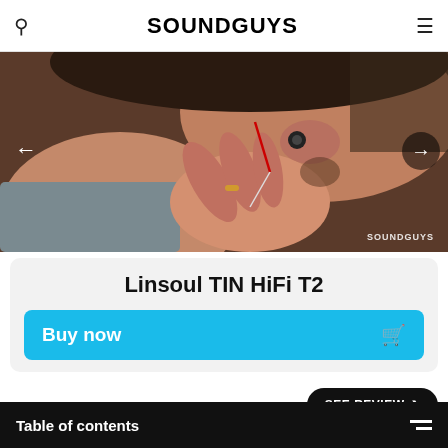SOUNDGUYS
[Figure (photo): Close-up photo of a person inserting an in-ear monitor (IEM) earphone into their ear, with a SOUNDGUYS watermark in the bottom right corner. Navigation arrows visible on left and right sides.]
Linsoul TIN HiFi T2
Buy now
SEE REVIEW
You get a pretty solid studio-like response from
Table of contents